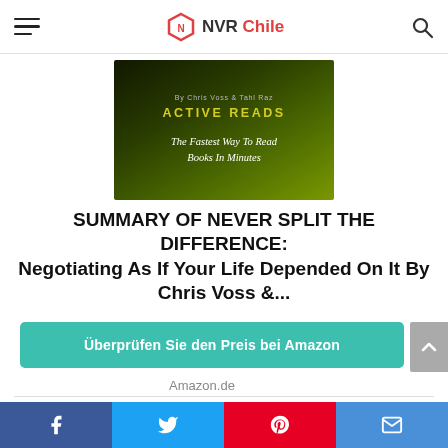NVR Chile
[Figure (illustration): Active Reads book cover: dark green gradient background, text 'By Chris Voss & Tahl Raz', 'ACTIVE READS', 'The Fastest Way To Read Books In Minutes']
SUMMARY OF NEVER SPLIT THE DIFFERENCE: Negotiating As If Your Life Depended On It By Chris Voss &...
Überprüfen Sie den Preis bei Amazon
Amazon.de
[Figure (illustration): Bottom book cover showing 'SUMMARY' in large white uppercase letters on dark background]